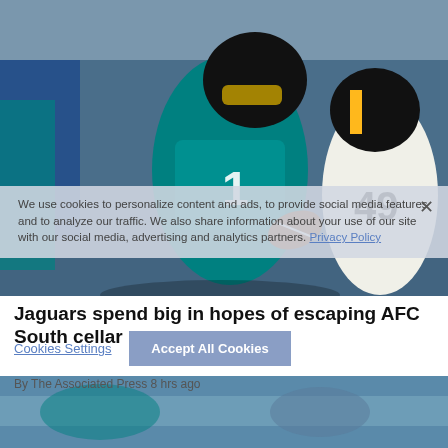[Figure (photo): NFL football action photo: Jacksonville Jaguars player number 1 in teal uniform carrying the ball, pursued by Pittsburgh Steelers player number 49 in white and gold uniform, indoor stadium background.]
We use cookies to personalize content and ads, to provide social media features and to analyze our traffic. We also share information about your use of our site with our social media, advertising and analytics partners. Privacy Policy
Jaguars spend big in hopes of escaping AFC South cellar
By The Associated Press 8 hrs ago
[Figure (photo): Partial bottom photo showing football crowd/stadium scene in teal and blue tones.]